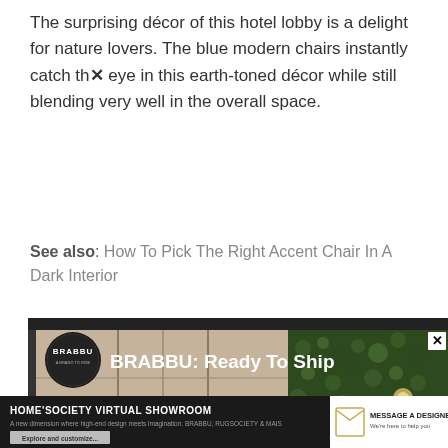The surprising décor of this hotel lobby is a delight for nature lovers. The blue modern chairs instantly catch the eye in this earth-toned décor while still blending very well in the overall space.
See also: How To Pick The Right Accent Chair In A Dark Interior
[Figure (screenshot): Video thumbnail showing a BRABBU Ready To Ship advertisement with a hotel interior featuring stone walls and green plant walls with warm lighting]
[Figure (screenshot): Advertisement bar for Home'Society Virtual Showroom with Message A Designer button]